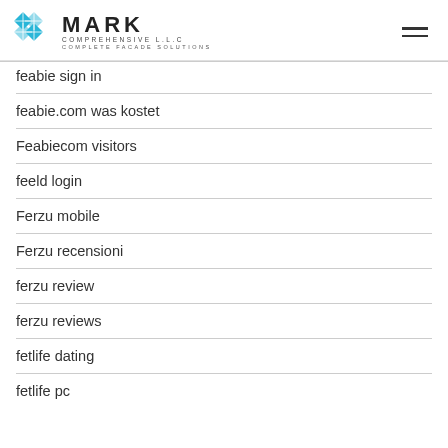[Figure (logo): Mark Comprehensive LLC logo with geometric blue diamond/snowflake icon and text 'MARK COMPREHENSIVE L.L.C COMPLETE FACADE SOLUTIONS']
feabie sign in
feabie.com was kostet
Feabiecom visitors
feeld login
Ferzu mobile
Ferzu recensioni
ferzu review
ferzu reviews
fetlife dating
fetlife pc